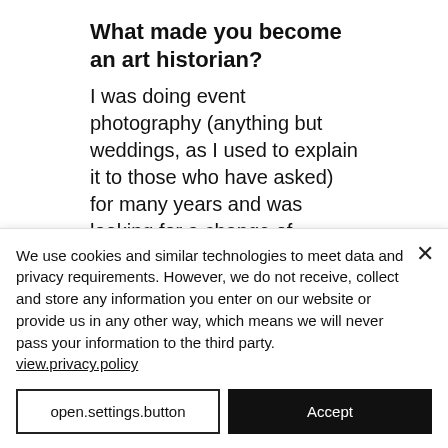What made you become an art historian?
I was doing event photography (anything but weddings, as I used to explain it to those who have asked) for many years and was looking for a change of career. Doing a postgraduate degree was on my mind for a long time but I could find the c…
We use cookies and similar technologies to meet data and privacy requirements. However, we do not receive, collect and store any information you enter on our website or provide us in any other way, which means we will never pass your information to the third party. view.privacy.policy
open.settings.button
Accept